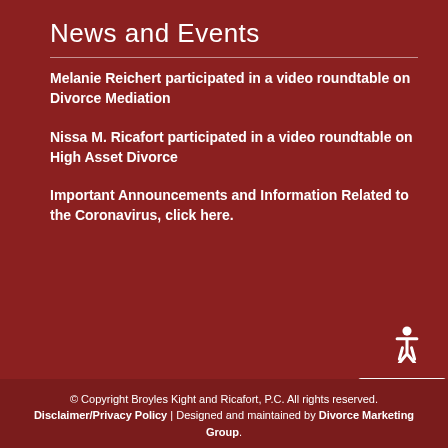News and Events
Melanie Reichert participated in a video roundtable on Divorce Mediation
Nissa M. Ricafort participated in a video roundtable on High Asset Divorce
Important Announcements and Information Related to the Coronavirus, click here.
© Copyright Broyles Kight and Ricafort, P.C. All rights reserved. Disclaimer/Privacy Policy | Designed and maintained by Divorce Marketing Group.